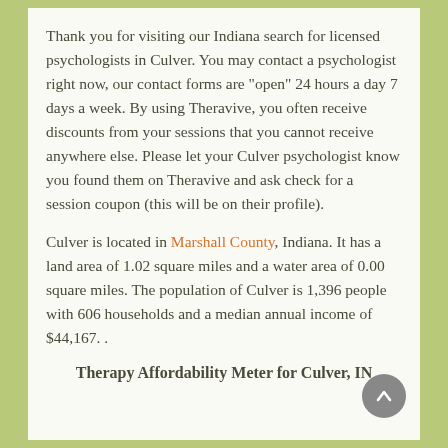Thank you for visiting our Indiana search for licensed psychologists in Culver.  You may contact a psychologist right now, our contact forms are "open" 24 hours a day 7 days a week. By using Theravive, you often receive discounts from your sessions that you cannot receive anywhere else. Please let your Culver psychologist know you found them on Theravive and ask check for a session coupon (this will be on their profile).
Culver is located in Marshall County, Indiana. It has a land area of 1.02 square miles and a water area of 0.00 square miles.  The population of Culver is 1,396 people with 606 households and a median annual income of $44,167. .
Therapy Affordability Meter for Culver, IN